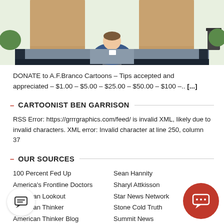[Figure (illustration): Cartoon illustration showing a person seated at a debate podium viewed from behind, with two large podiums on either side]
DONATE to A.F.Branco Cartoons – Tips accepted and appreciated – $1.00 – $5.00 – $25.00 – $50.00 – $100 –.. [...]
CARTOONIST BEN GARRISON
RSS Error: https://grrrgraphics.com/feed/ is invalid XML, likely due to invalid characters. XML error: Invalid character at line 250, column 37
OUR SOURCES
100 Percent Fed Up
Sean Hannity
America's Frontline Doctors
Sharyl Attkisson
American Lookout
Star News Network
American Thinker
Stone Cold Truth
American Thinker Blog
Summit News
Breaking
Takin' it Back - The Podcast